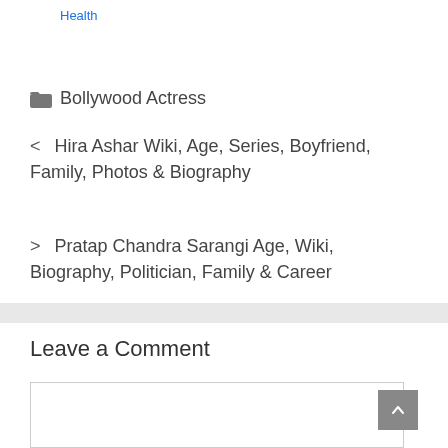Health
📁 Bollywood Actress
< Hira Ashar Wiki, Age, Series, Boyfriend, Family, Photos & Biography
> Pratap Chandra Sarangi Age, Wiki, Biography, Politician, Family & Career
Leave a Comment